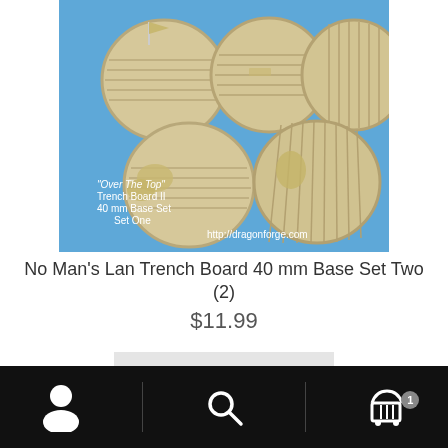[Figure (photo): Product photo of 'Over The Top' Trench Board II 40 mm Base Set Set One — five circular resin bases on a blue background, each showing detailed trench board wood plank texture, some with sandbag details. Text overlay reads: '"Over The Top" Trench Board II 40 mm Base Set Set One' and 'http://dragonforge.com']
No Man's Lan Trench Board 40 mm Base Set Two (2)
$11.99
Add to cart